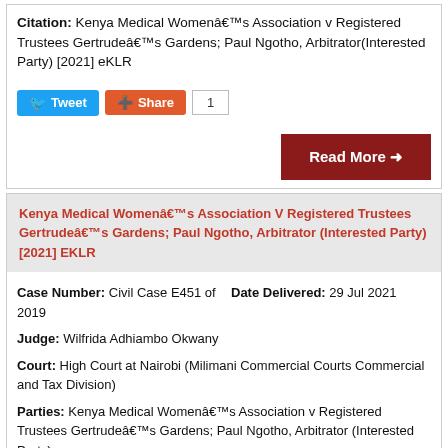Citation: Kenya Medical Womenâ€™s Association v Registered Trustees Gertrudeâ€™s Gardens; Paul Ngotho, Arbitrator(Interested Party) [2021] eKLR
Tweet | Share | 1
Read More →
Kenya Medical Womenâ€™s Association V Registered Trustees Gertrudeâ€™s Gardens; Paul Ngotho, Arbitrator (Interested Party) [2021] EKLR
Case Number: Civil Case E451 of 2019
Date Delivered: 29 Jul 2021
Judge: Wilfrida Adhiambo Okwany
Court: High Court at Nairobi (Milimani Commercial Courts Commercial and Tax Division)
Parties: Kenya Medical Womenâ€™s Association v Registered Trustees Gertrudeâ€™s Gardens; Paul Ngotho, Arbitrator (Interested Party)